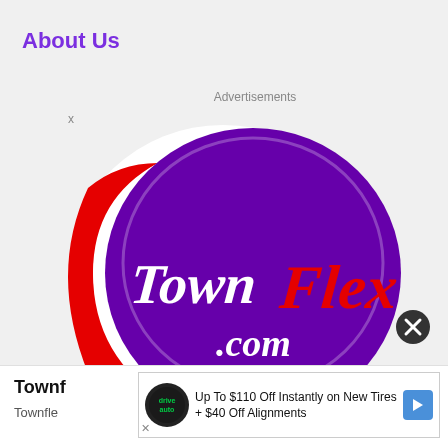About Us
Advertisements
[Figure (logo): TownFlex.com logo — a circular emblem with red, white, and purple swirl design. The word 'Town' appears in white italic script and 'Flex' in bold red italic letters, with '.com' below in white text on purple background.]
Townf
Townfle
[Figure (other): Bottom advertisement banner: Driveauto logo icon, text 'Up To $110 Off Instantly on New Tires + $40 Off Alignments', blue arrow button on right.]